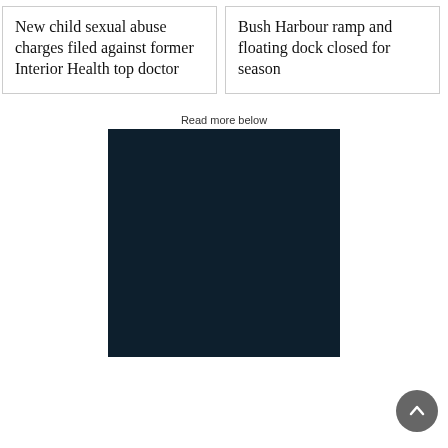New child sexual abuse charges filed against former Interior Health top doctor
Bush Harbour ramp and floating dock closed for season
Read more below
[Figure (other): Dark navy blue rectangle, likely a video or advertisement placeholder]